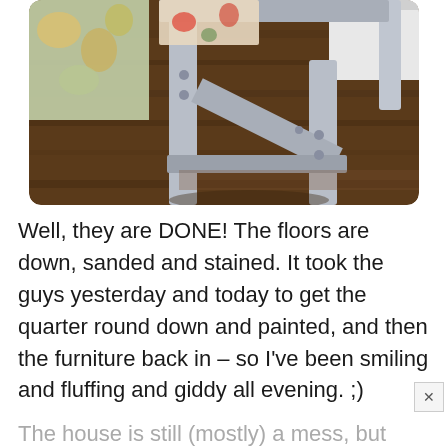[Figure (photo): Close-up photo of a painted white/grey wooden stool or step ladder with screws visible, sitting on a dark wood floor. There is a floral patterned cushion or fabric visible at top left.]
Well, they are DONE! The floors are down, sanded and stained. It took the guys yesterday and today to get the quarter round down and painted, and then the furniture back in – so I've been smiling and fluffing and giddy all evening. ;)
The house is still (mostly) a mess, but